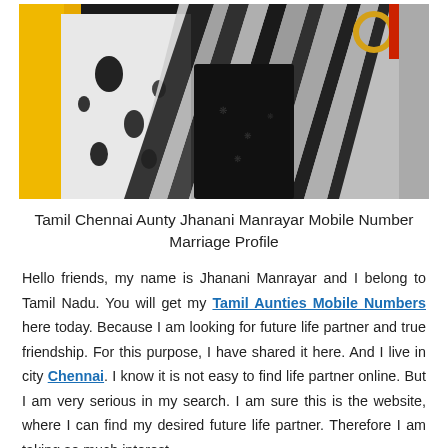[Figure (photo): A woman wearing a black outfit with a white and black striped/tie-dye dupatta/scarf draped over her shoulder. She is wearing a gold bangle. A yellow/orange garment is visible on the left. A red object is visible in the top right corner.]
Tamil Chennai Aunty Jhanani Manrayar Mobile Number Marriage Profile
Hello friends, my name is Jhanani Manrayar and I belong to Tamil Nadu. You will get my Tamil Aunties Mobile Numbers here today. Because I am looking for future life partner and true friendship. For this purpose, I have shared it here. And I live in city Chennai. I know it is not easy to find life partner online. But I am very serious in my search. I am sure this is the website, where I can find my desired future life partner. Therefore I am taking so much interest